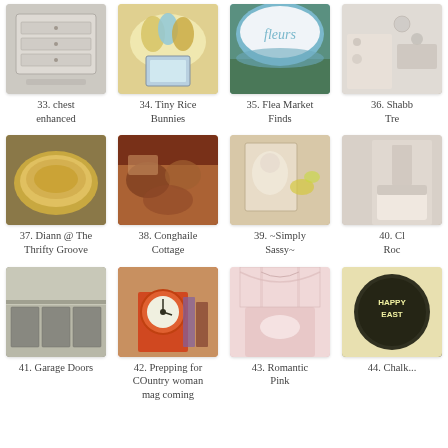[Figure (photo): White painted chest of drawers]
33. chest enhanced
[Figure (photo): Tiny rice bunnies and Easter decorations in a bowl]
34. Tiny Rice Bunnies
[Figure (photo): Blue metal bucket with Fleurs text]
35. Flea Market Finds
[Figure (photo): Shabby chic decorative items, partially cropped]
36. Shabb... Tre...
[Figure (photo): Silver serving tray on wooden surface]
37. Diann @ The Thrifty Groove
[Figure (photo): Conghaile Cottage food and decor items]
38. Conghaile Cottage
[Figure (photo): Vintage child photo with butterfly decorations]
39. ~Simply Sassy~
[Figure (photo): Shabby chic chair partially cropped]
40. Ch... Roc...
[Figure (photo): Garage doors exterior view]
41. Garage Doors
[Figure (photo): Vintage scale with books and country items]
42. Prepping for COuntry woman mag coming
[Figure (photo): Romantic pink bedroom with canopy]
43. Romantic Pink
[Figure (photo): Chalkboard with Happy Easter text]
44. Chalk...